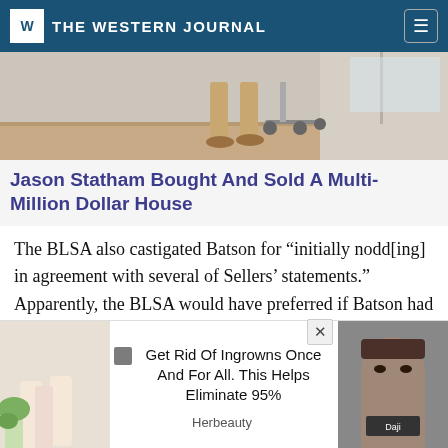THE WESTERN JOURNAL
[Figure (photo): Interior room with wooden floor; person's legs visible near chair with wheels]
Jason Statham Bought And Sold A Multi-Million Dollar House
The BLSA also castigated Batson for “initially nodd[ing] in agreement with several of Sellers’ statements.” Apparently, the BLSA would have preferred if Batson had leapt from his chair, pounded
[Figure (photo): Advertisement: Get Rid Of Ingrowns Once And For All. This Helps Eliminate 95% — Herbeauty. Left image shows legs, right image shows woman's face.]